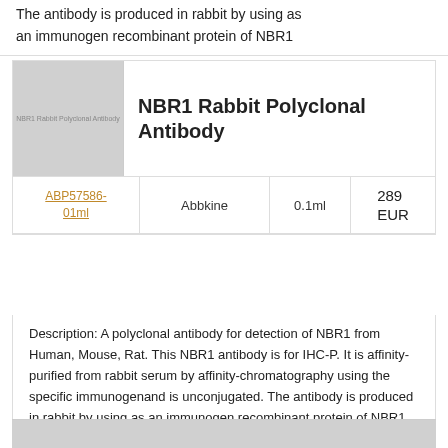The antibody is produced in rabbit by using as an immunogen recombinant protein of NBR1
[Figure (photo): Product image placeholder showing NBR1 Rabbit Polyclonal Antibody label]
NBR1 Rabbit Polyclonal Antibody
| SKU | Vendor | Size | Price |
| --- | --- | --- | --- |
| ABP57586-01ml | Abbkine | 0.1ml | 289 EUR |
Description: A polyclonal antibody for detection of NBR1 from Human, Mouse, Rat. This NBR1 antibody is for IHC-P. It is affinity-purified from rabbit serum by affinity-chromatography using the specific immunogenand is unconjugated. The antibody is produced in rabbit by using as an immunogen recombinant protein of NBR1